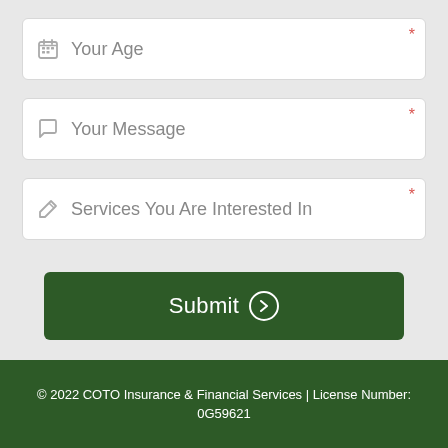Your Age
Your Message
Services You Are Interested In
Submit
© 2022 COTO Insurance & Financial Services | License Number: 0G59621